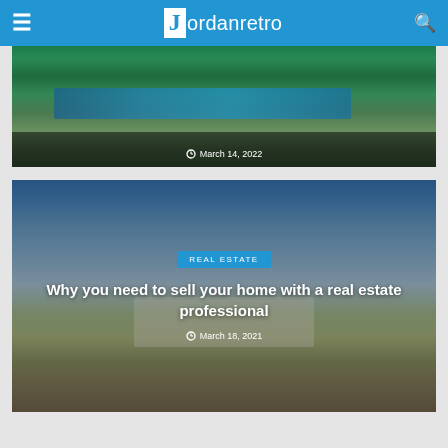Jordanretro
[Figure (photo): Cropped top of a real estate article card showing a pool and tropical garden landscaping with date March 14, 2022]
[Figure (photo): Article card showing a suburban house exterior with blue sky background, category badge REAL ESTATE, title 'Why you need to sell your home with a real estate professional', dated March 18, 2021]